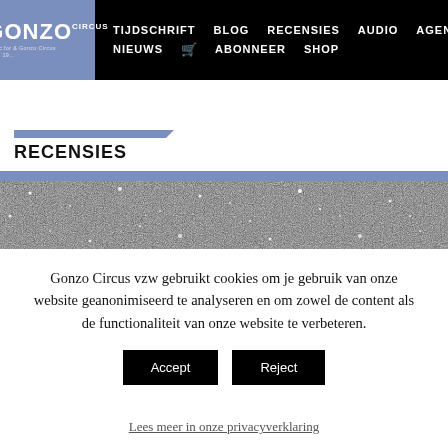GONZO | TIJDSCHRIFT BLOG RECENSIES AUDIO AGENDA NIEUWS ABONNEER SHOP
RECENSIES
[Figure (photo): Black and white starfield / grainy texture photograph spanning full width]
Gonzo Circus vzw gebruikt cookies om je gebruik van onze website geanonimiseerd te analyseren en om zowel de content als de functionaliteit van onze website te verbeteren.
Accept | Reject
Lees meer in onze privacyverklaring